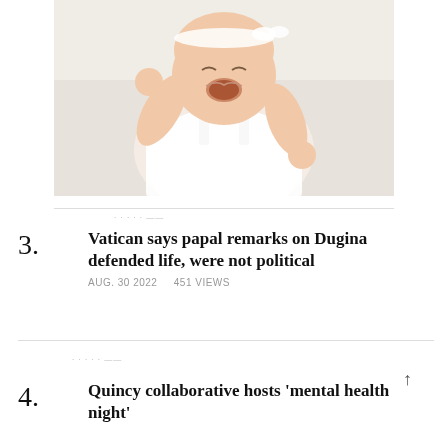[Figure (photo): A smiling baby wearing a white dress and white headband, lying on a white surface, laughing with arms raised]
3. Vatican says papal remarks on Dugina defended life, were not political
AUG. 30 2022   451 VIEWS
4. Quincy collaborative hosts 'mental health night'